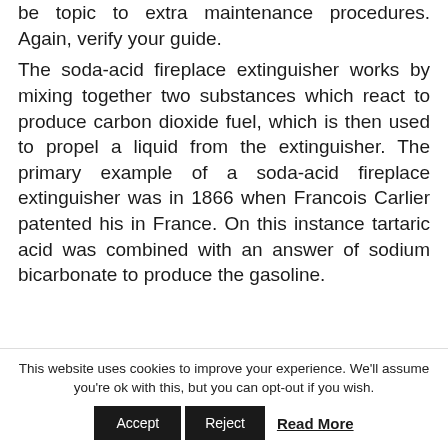be topic to extra maintenance procedures. Again, verify your guide.
The soda-acid fireplace extinguisher works by mixing together two substances which react to produce carbon dioxide fuel, which is then used to propel a liquid from the extinguisher. The primary example of a soda-acid fireplace extinguisher was in 1866 when Francois Carlier patented his in France. On this instance tartaric acid was combined with an answer of sodium bicarbonate to produce the gasoline.
This website uses cookies to improve your experience. We'll assume you're ok with this, but you can opt-out if you wish.
Accept   Reject   Read More